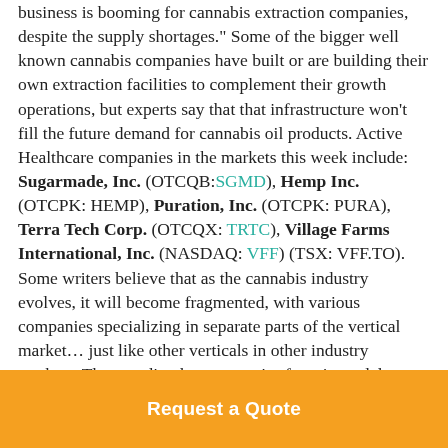business is booming for cannabis extraction companies, despite the supply shortages." Some of the bigger well known cannabis companies have built or are building their own extraction facilities to complement their growth operations, but experts say that that infrastructure won't fill the future demand for cannabis oil products. Active Healthcare companies in the markets this week include: Sugarmade, Inc. (OTCQB:SGMD), Hemp Inc. (OTCPK: HEMP), Puration, Inc. (OTCPK: PURA), Terra Tech Corp. (OTCQX: TRTC), Village Farms International, Inc. (NASDAQ: VFF) (TSX: VFF.TO).
Some writers believe that as the cannabis industry evolves, it will become fragmented, with various companies specializing in separate parts of the vertical market… just like other verticals in other industry markets. They predict that companies focusing solely
Request a Quote